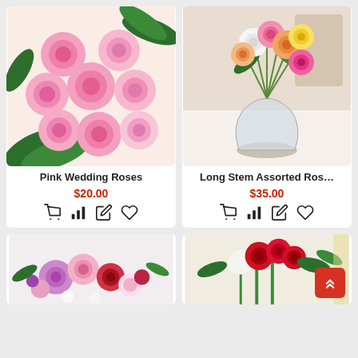[Figure (photo): Bouquet of pink roses with green fern leaves on a light background]
Pink Wedding Roses
$20.00
[Figure (photo): Long stem assorted roses in a clear glass vase with mixed colors including pink, orange, white, yellow on a white background]
Long Stem Assorted Ros…
$35.00
[Figure (photo): Mixed arrangement with pink roses, purple and red flowers, white blossoms]
[Figure (photo): Red roses and white calla lilies arrangement]